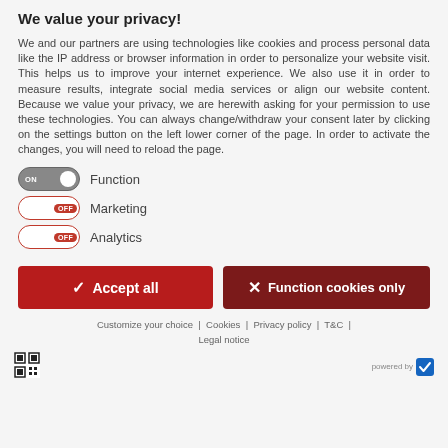We value your privacy!
We and our partners are using technologies like cookies and process personal data like the IP address or browser information in order to personalize your website visit. This helps us to improve your internet experience. We also use it in order to measure results, integrate social media services or align our website content. Because we value your privacy, we are herewith asking for your permission to use these technologies. You can always change/withdraw your consent later by clicking on the settings button on the left lower corner of the page. In order to activate the changes, you will need to reload the page.
ON  Function
OFF  Marketing
OFF  Analytics
Accept all | Function cookies only
Customize your choice | Cookies | Privacy policy | T&C | Legal notice
powered by